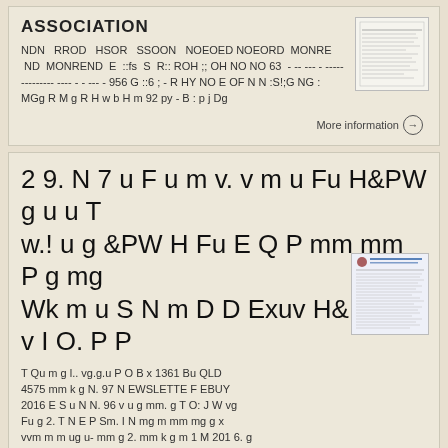ASSOCIATION
NDN RROD HSOR SSOON NOEOED NOEORD MONRE ND MONREND E ::fs S R:: ROH ;; OH NO NO 63 - -- --- - -------------- ---- - - --- - 956 G ::6 ; - R HY NO E OF N N :S!;G NG : MGg R M g R H w b H m 92 py - B : p j Dg
More information →
2 9. N 7 u F u m v. v m u Fu H&PW g u u T w.! u g &PW H Fu E Q P mm mm P g mg Wk m u S N m D D Exuv H&PW v v I O. P P
T Qu m g l.. vg.g.u P O B x 1361 Bu QLD 4575 mm k g N. 97 N EWSLETTE F EBUY 2016 E S u N N. 96 v u g mm. g T O: J W vg Fu g 2. T N E P Sm. I N mg m mm mg g x vvm m m ug u- mm g 2. mm k g m 1 M 201 6. g
More information →